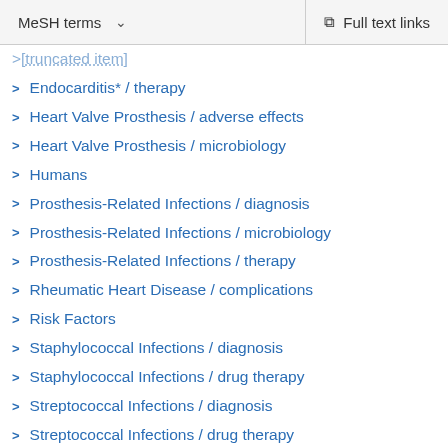MeSH terms  ∨    Full text links
Endocarditis* / therapy
Heart Valve Prosthesis / adverse effects
Heart Valve Prosthesis / microbiology
Humans
Prosthesis-Related Infections / diagnosis
Prosthesis-Related Infections / microbiology
Prosthesis-Related Infections / therapy
Rheumatic Heart Disease / complications
Risk Factors
Staphylococcal Infections / diagnosis
Staphylococcal Infections / drug therapy
Streptococcal Infections / diagnosis
Streptococcal Infections / drug therapy
Substances
Anti-Infective Agents